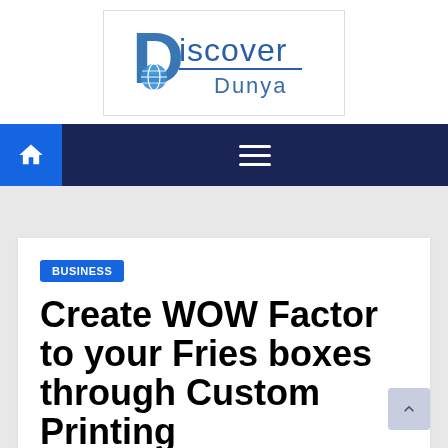[Figure (logo): Discover Dunya logo with blue D letter and globe icon]
[Figure (screenshot): Dark navy navigation bar with blue home icon button on left and hamburger menu icon in center]
BUSINESS
Create WOW Factor to your Fries boxes through Custom Printing